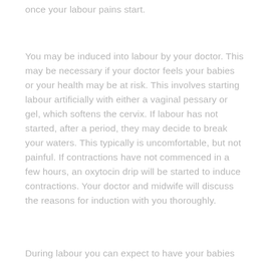once your labour pains start.
You may be induced into labour by your doctor. This may be necessary if your doctor feels your babies or your health may be at risk. This involves starting labour artificially with either a vaginal pessary or gel, which softens the cervix. If labour has not started, after a period, they may decide to break your waters. This typically is uncomfortable, but not painful. If contractions have not commenced in a few hours, an oxytocin drip will be started to induce contractions. Your doctor and midwife will discuss the reasons for induction with you thoroughly.
During labour you can expect to have your babies